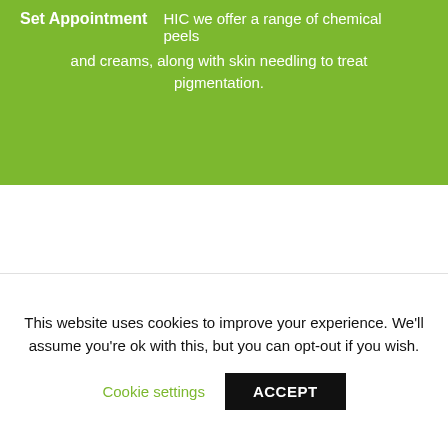Set Appointment
HIC we offer a range of chemical peels and creams, along with skin needling to treat pigmentation.
This website uses cookies to improve your experience. We'll assume you're ok with this, but you can opt-out if you wish.
Cookie settings
ACCEPT